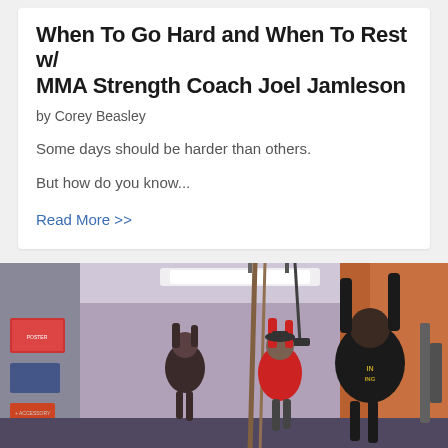When To Go Hard and When To Rest w/ MMA Strength Coach Joel Jamleson
by Corey Beasley
Some days should be harder than others.
But how do you know...
Read More >>
[Figure (photo): Photo of athletes training in a gym, performing pull-up or rope climbing exercises. Multiple people visible in a gym setting with equipment and posters on walls.]